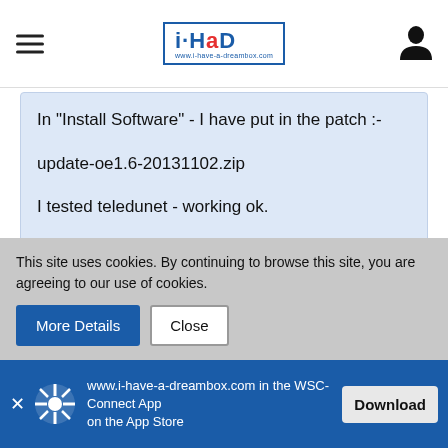i-HaD www.i-have-a-dreambox.com
In "Install Software" - I have put in the patch :-

update-oe1.6-20131102.zip

I tested teledunet - working ok.

Cheers, pcd.
This site uses cookies. By continuing to browse this site, you are agreeing to our use of cookies.
www.i-have-a-dreambox.com in the WSC-Connect App on the App Store